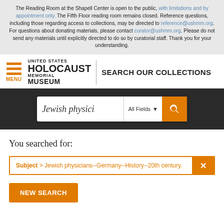The Reading Room at the Shapell Center is open to the public, with limitations and by appointment only. The Fifth Floor reading room remains closed. Reference questions, including those regarding access to collections, may be directed to reference@ushmm.org. For questions about donating materials, please contact curator@ushmm.org. Please do not send any materials until explicitly directed to do so by curatorial staff. Thank you for your understanding.
[Figure (logo): United States Holocaust Memorial Museum logo with hamburger menu icon and SEARCH OUR COLLECTIONS text]
[Figure (screenshot): Search bar with text 'Jewish physici', All Fields dropdown, and orange search button]
You searched for:
Subject > Jewish physicians--Germany--History--20th century.
NEW SEARCH